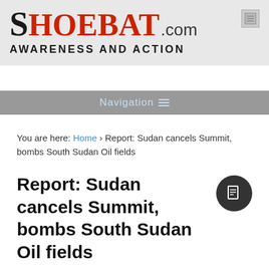SHOEBAT.com AWARENESS AND ACTION
Navigation
You are here: Home › Report: Sudan cancels Summit, bombs South Sudan Oil fields
Report: Sudan cancels Summit, bombs South Sudan Oil fields
by Shoebat Foundation on March 27, 2012 in General